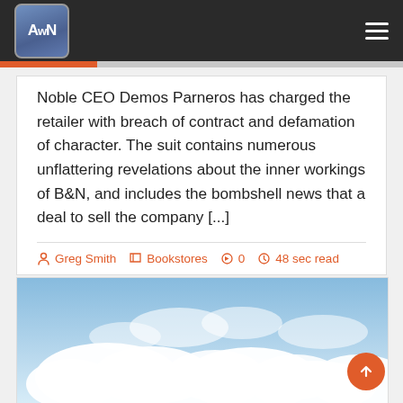AWN logo and navigation menu
Noble CEO Demos Parneros has charged the retailer with breach of contract and defamation of character. The suit contains numerous unflattering revelations about the inner workings of B&N, and includes the bombshell news that a deal to sell the company [...]
Greg Smith  Bookstores  0  48 sec read
[Figure (photo): Sky with white clouds photograph]